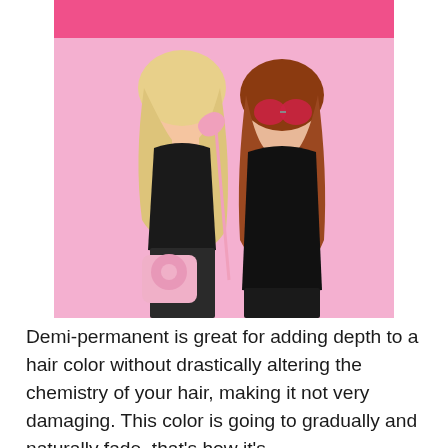[Figure (photo): Two young women posing against a pink background. The woman on the left has blonde wavy hair, wearing a black crop top and black leather pants, holding a pink vintage telephone handset up to her ear and carrying a pink rotary telephone as a bag. The woman on the right has auburn/red straight hair, wearing red heart-shaped sunglasses and a black sleeveless top with black leather pants, leaning toward the first woman. There is a hot pink horizontal bar at the very top of the image.]
Demi-permanent is great for adding depth to a hair color without drastically altering the chemistry of your hair, making it not very damaging. This color is going to gradually and naturally fade, that's how it's